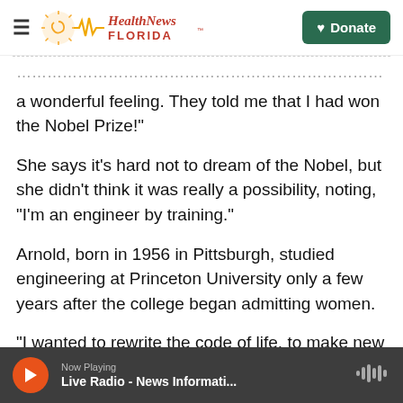Health News Florida — Donate
a wonderful feeling. They told me that I had won the Nobel Prize!"
She says it's hard not to dream of the Nobel, but she didn't think it was really a possibility, noting, "I'm an engineer by training."
Arnold, born in 1956 in Pittsburgh, studied engineering at Princeton University only a few years after the college began admitting women.
"I wanted to rewrite the code of life, to make new molecular machines that would solve human
Now Playing — Live Radio - News Informati...